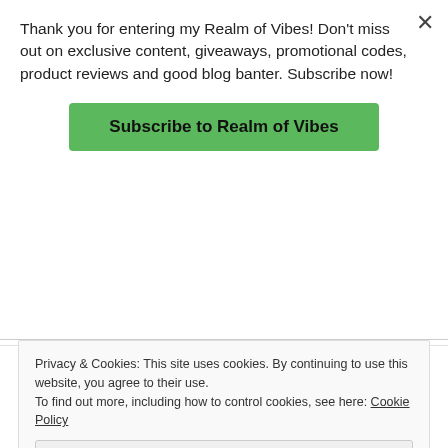Thank you for entering my Realm of Vibes! Don't miss out on exclusive content, giveaways, promotional codes, product reviews and good blog banter. Subscribe now!
Subscribe to Realm of Vibes
to relax.
Like
REPLY
Privacy & Cookies: This site uses cookies. By continuing to use this website, you agree to their use.
To find out more, including how to control cookies, see here: Cookie Policy
Close and accept